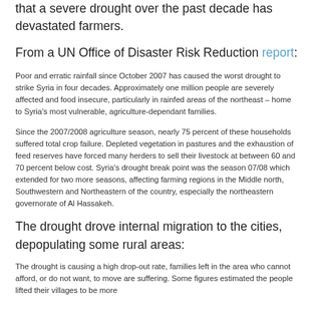that a severe drought over the past decade has devastated farmers.
From a UN Office of Disaster Risk Reduction report:
Poor and erratic rainfall since October 2007 has caused the worst drought to strike Syria in four decades. Approximately one million people are severely affected and food insecure, particularly in rainfed areas of the northeast – home to Syria's most vulnerable, agriculture-dependant families.
Since the 2007/2008 agriculture season, nearly 75 percent of these households suffered total crop failure. Depleted vegetation in pastures and the exhaustion of feed reserves have forced many herders to sell their livestock at between 60 and 70 percent below cost. Syria's drought break point was the season 07/08 which extended for two more seasons, affecting farming regions in the Middle north, Southwestern and Northeastern of the country, especially the northeastern governorate of Al Hassakeh.
The drought drove internal migration to the cities, depopulating some rural areas:
The drought is causing a high drop-out rate, families left in the area who cannot afford, or do not want, to move are suffering. Some figures estimated the people lifted their villages to be more